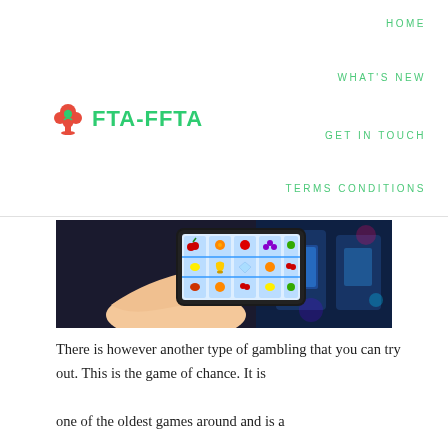HOME
WHAT'S NEW
[Figure (logo): FTA-FFTA logo with a spade/flower icon in red and green, followed by bold green text FTA-FFTA]
GET IN TOUCH
TERMS CONDITIONS
[Figure (photo): A hand holding a smartphone displaying a slot machine game with fruit symbols (cherries, oranges, lemons, bells, diamond), with physical slot machines in the blurred background]
There is however another type of gambling that you can try out. This is the game of chance. It is one of the oldest games around and is a